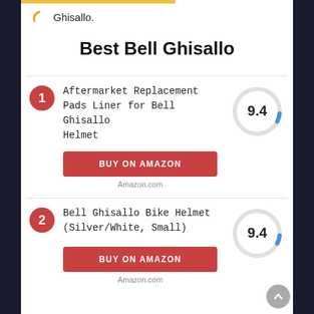Ghisallo.
Best Bell Ghisallo
1. Aftermarket Replacement Pads Liner for Bell Ghisallo Helmet — Score: 9.4
2. Bell Ghisallo Bike Helmet (Silver/White, Small) — Score: 9.4